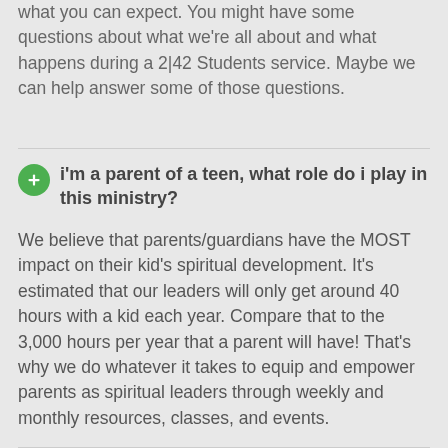what you can expect. You might have some questions about what we're all about and what happens during a 2|42 Students service. Maybe we can help answer some of those questions.
i'm a parent of a teen, what role do i play in this ministry?
We believe that parents/guardians have the MOST impact on their kid's spiritual development. It's estimated that our leaders will only get around 40 hours with a kid each year. Compare that to the 3,000 hours per year that a parent will have! That's why we do whatever it takes to equip and empower parents as spiritual leaders through weekly and monthly resources, classes, and events.